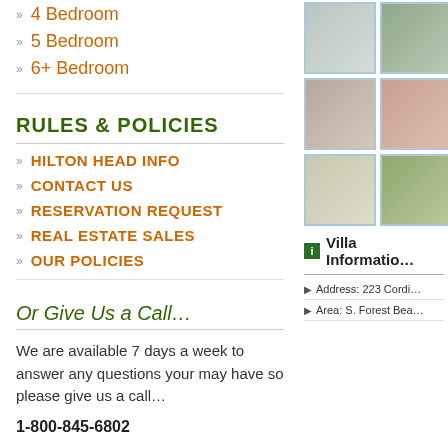4 Bedroom
5 Bedroom
6+ Bedroom
RULES & POLICIES
HILTON HEAD INFO
CONTACT US
RESERVATION REQUEST
REAL ESTATE SALES
OUR POLICIES
Or Give Us a Call…
We are available 7 days a week to answer any questions your may have so please give us a call…
1-800-845-6802
[Figure (photo): Grid of 6 property photos showing bathroom, outdoor area, dining room, bedroom, bathroom, and garden]
Villa Information
Address: 223 Cordi…
Area: S. Forest Bea…